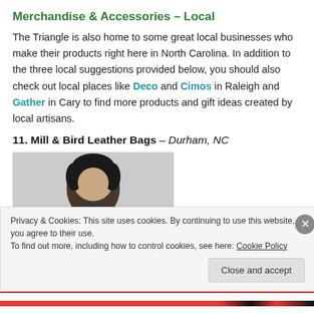Merchandise & Accessories – Local
The Triangle is also home to some great local businesses who make their products right here in North Carolina. In addition to the three local suggestions provided below, you should also check out local places like Deco and Cimos in Raleigh and Gather in Cary to find more products and gift ideas created by local artisans.
11. Mill & Bird Leather Bags – Durham, NC
[Figure (photo): Photo of a person with short dark hair against a light grey background, partially cropped]
Privacy & Cookies: This site uses cookies. By continuing to use this website, you agree to their use. To find out more, including how to control cookies, see here: Cookie Policy